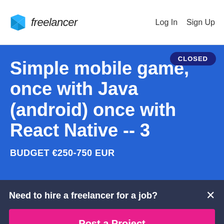[Figure (logo): Freelancer logo with blue geometric bird/arrow shape and 'freelancer' wordmark]
Log In   Sign Up
CLOSED
Simple mobile game, once with Java (android) once with React Native -- 3
BUDGET €250-750 EUR
Need to hire a freelancer for a job?
×
Post a Project